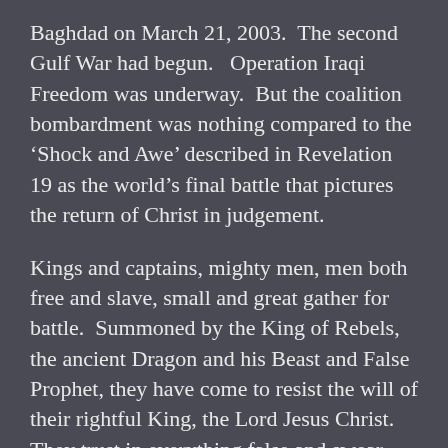Baghdad on March 21, 2003.  The second Gulf War had begun.   Operation Iraqi Freedom was underway.  But the coalition bombardment was nothing compared to the ‘Shock and Awe’ described in Revelation 19 as the world’s final battle that pictures the return of Christ in judgement.
Kings and captains, mighty men, men both free and slave, small and great gather for battle.  Summoned by the King of Rebels, the ancient Dragon and his Beast and False Prophet, they have come to resist the will of their rightful King, the Lord Jesus Christ.  They trust in everything false and swear allegiance to the King of Lies and Murder.   They think this will be their moment – and indeed it is.  Just not the moment they expected.  ‘Shock and awe’ is coming.   Join us this Sunday as we examine Revelation 19:11-21 and